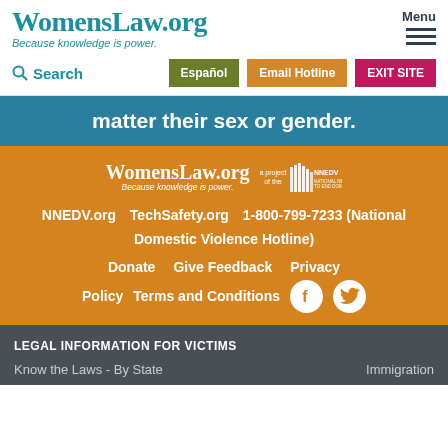WomensLaw.org — Because knowledge is power.
Menu
Search | Español | Email Hotline | EXIT SITE
matter their sex or gender.
[Figure (logo): WomensLaw.org logo with tagline 'Because knowledge is power.' and NNEDV partner badge]
NNEDV.org   TechSafety.org   1-800-799-7233 (National Domestic Violence Hotline)
Donate   Give Feedback   Privacy Policy   Terms and Conditions
LEGAL INFORMATION FOR VICTIMS
Know the Laws - By State   Immigration